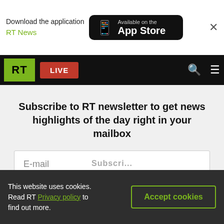[Figure (screenshot): App store download banner with RT News text and Available on the App Store button]
[Figure (screenshot): RT news website navigation bar with green RT logo, red LIVE button, search and menu icons]
The price of defeat: The US fled Afghanistan
Subscribe to RT newsletter to get news highlights of the day right in your mailbox
E-mail
We offer you the possibility to receive RT's news highlights every Monday, Wednesday and Friday by email.
This website uses cookies. Read RT Privacy policy to find out more.
Accept cookies